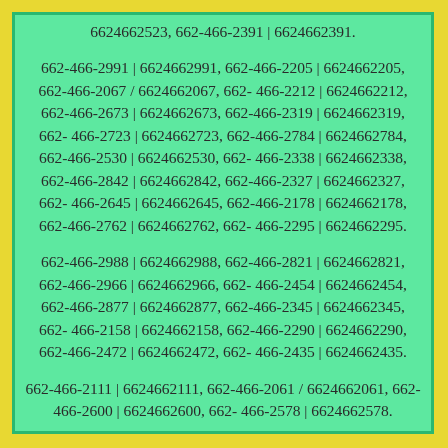6624662523, 662-466-2391 | 6624662391.
662-466-2991 | 6624662991, 662-466-2205 | 6624662205, 662-466-2067 / 6624662067, 662-466-2212 | 6624662212, 662-466-2673 | 6624662673, 662-466-2319 | 6624662319, 662-466-2723 | 6624662723, 662-466-2784 | 6624662784, 662-466-2530 | 6624662530, 662-466-2338 | 6624662338, 662-466-2842 | 6624662842, 662-466-2327 | 6624662327, 662-466-2645 | 6624662645, 662-466-2178 | 6624662178, 662-466-2762 | 6624662762, 662-466-2295 | 6624662295.
662-466-2988 | 6624662988, 662-466-2821 | 6624662821, 662-466-2966 | 6624662966, 662-466-2454 | 6624662454, 662-466-2877 | 6624662877, 662-466-2345 | 6624662345, 662-466-2158 | 6624662158, 662-466-2290 | 6624662290, 662-466-2472 | 6624662472, 662-466-2435 | 6624662435.
662-466-2111 | 6624662111, 662-466-2061 / 6624662061, 662-466-2600 | 6624662600, 662-466-2578 | 6624662578.